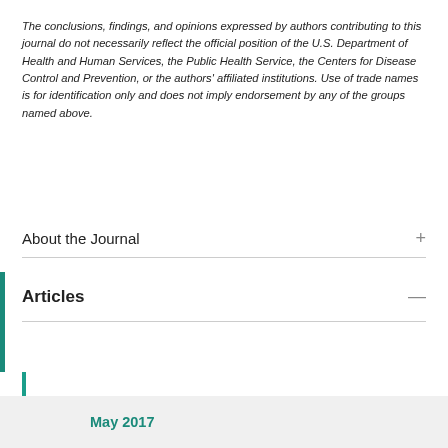The conclusions, findings, and opinions expressed by authors contributing to this journal do not necessarily reflect the official position of the U.S. Department of Health and Human Services, the Public Health Service, the Centers for Disease Control and Prevention, or the authors' affiliated institutions. Use of trade names is for identification only and does not imply endorsement by any of the groups named above.
About the Journal
Articles
September 2022
Early Release
Past Issues
May 2017